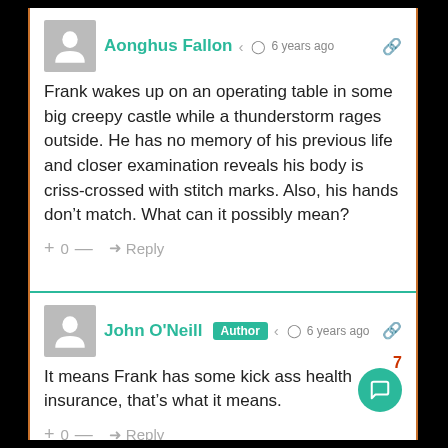Aonghus Fallon  6 years ago
Frank wakes up on an operating table in some big creepy castle while a thunderstorm rages outside. He has no memory of his previous life and closer examination reveals his body is criss-crossed with stitch marks. Also, his hands don't match. What can it possibly mean?
+ 0 —   Reply
John O'Neill  Author  6 years ago
It means Frank has some kick ass health insurance, that's what it means.
+ 0 —   Reply